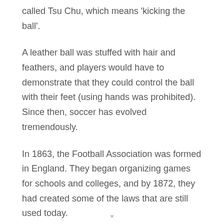called Tsu Chu, which means 'kicking the ball'.
A leather ball was stuffed with hair and feathers, and players would have to demonstrate that they could control the ball with their feet (using hands was prohibited). Since then, soccer has evolved tremendously.
In 1863, the Football Association was formed in England. They began organizing games for schools and colleges, and by 1872, they had created some of the laws that are still used today.
×